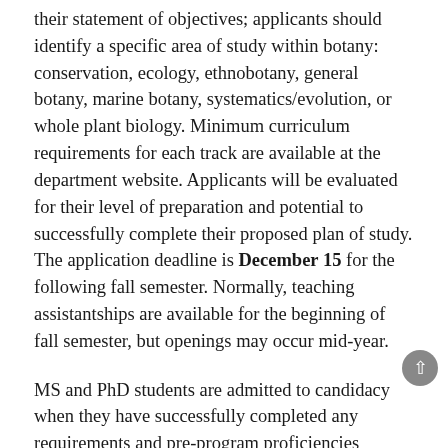their statement of objectives; applicants should identify a specific area of study within botany: conservation, ecology, ethnobotany, general botany, marine botany, systematics/evolution, or whole plant biology. Minimum curriculum requirements for each track are available at the department website. Applicants will be evaluated for their level of preparation and potential to successfully complete their proposed plan of study. The application deadline is December 15 for the following fall semester. Normally, teaching assistantships are available for the beginning of fall semester, but openings may occur mid-year.
MS and PhD students are admitted to candidacy when they have successfully completed any requirements and pre-program proficiencies identified by their committee and after they have demonstrated the ability to collect,